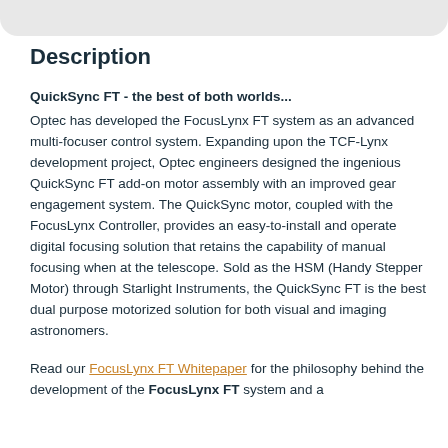Description
QuickSync FT - the best of both worlds...
Optec has developed the FocusLynx FT system as an advanced multi-focuser control system. Expanding upon the TCF-Lynx development project, Optec engineers designed the ingenious QuickSync FT add-on motor assembly with an improved gear engagement system. The QuickSync motor, coupled with the FocusLynx Controller, provides an easy-to-install and operate digital focusing solution that retains the capability of manual focusing when at the telescope. Sold as the HSM (Handy Stepper Motor) through Starlight Instruments, the QuickSync FT is the best dual purpose motorized solution for both visual and imaging astronomers.
Read our FocusLynx FT Whitepaper for the philosophy behind the development of the FocusLynx FT system and a